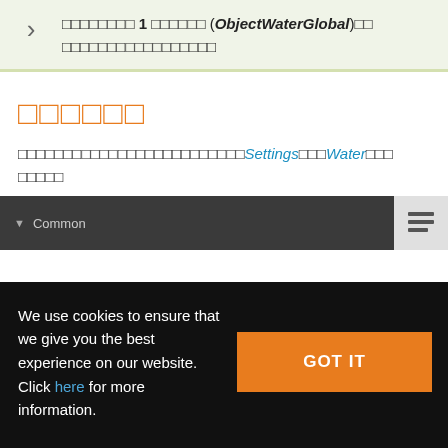□□□□□□□□ 1 □□□□□□ (ObjectWaterGlobal)□□ □□□□□□□□□□□□□□□□□
□□□□□□
□□□□□□□□□□□□□□□□□□□□□□□□□Settings□□□Water□□□ □□□□□
[Figure (screenshot): Dark toolbar bar showing '▼ Common' label with a list icon button on the right side]
We use cookies to ensure that we give you the best experience on our website. Click here for more information.
GOT IT